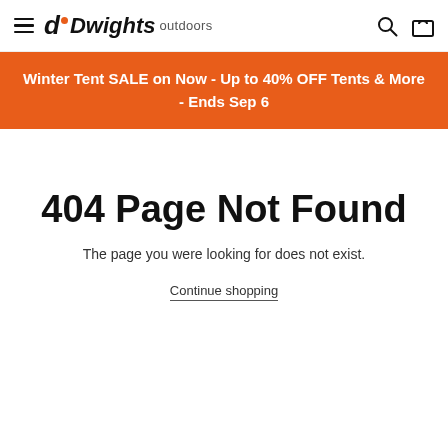Dwights outdoors — navigation header with hamburger menu, logo, search and cart icons
Winter Tent SALE on Now - Up to 40% OFF Tents & More - Ends Sep 6
404 Page Not Found
The page you were looking for does not exist.
Continue shopping